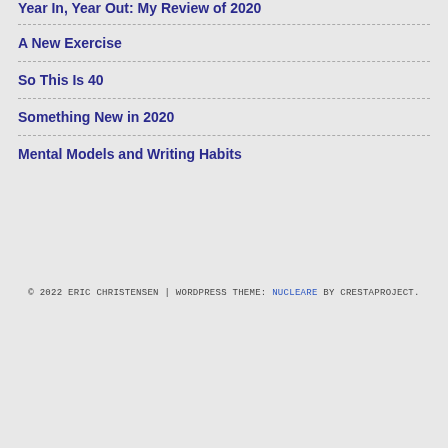Year In, Year Out: My Review of 2020
A New Exercise
So This Is 40
Something New in 2020
Mental Models and Writing Habits
© 2022 ERIC CHRISTENSEN | WORDPRESS THEME: NUCLEARE BY CRESTAPROJECT.